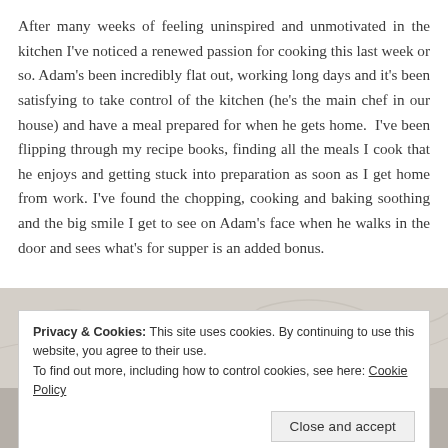After many weeks of feeling uninspired and unmotivated in the kitchen I've noticed a renewed passion for cooking this last week or so. Adam's been incredibly flat out, working long days and it's been satisfying to take control of the kitchen (he's the main chef in our house) and have a meal prepared for when he gets home.  I've been flipping through my recipe books, finding all the meals I cook that he enjoys and getting stuck into preparation as soon as I get home from work. I've found the chopping, cooking and baking soothing and the big smile I get to see on Adam's face when he walks in the door and sees what's for supper is an added bonus.
[Figure (photo): Partial view of a light grey/beige marbled surface (top strip) and what appears to be a recipe book or printed pages (bottom strip), partially obscured by the cookie consent banner.]
Privacy & Cookies: This site uses cookies. By continuing to use this website, you agree to their use.
To find out more, including how to control cookies, see here: Cookie Policy
Close and accept